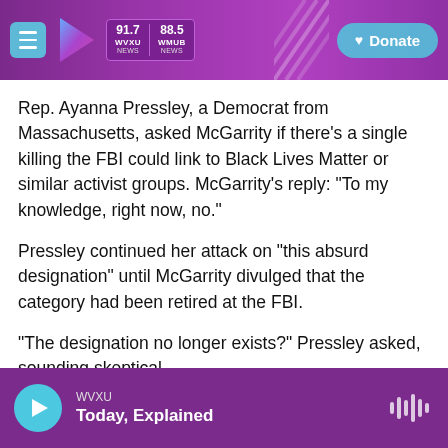WVXU 91.7 NEWS | WMUB 88.5 NEWS | Donate
Rep. Ayanna Pressley, a Democrat from Massachusetts, asked McGarrity if there's a single killing the FBI could link to Black Lives Matter or similar activist groups. McGarrity's reply: "To my knowledge, right now, no."
Pressley continued her attack on "this absurd designation" until McGarrity divulged that the category had been retired at the FBI.
"The designation no longer exists?" Pressley asked, sounding skeptical.
WVXU — Today, Explained